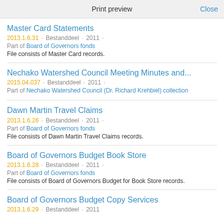Print preview  Close
Master Card Statements
2013.1.6.31 · Bestanddeel · 2011 ·
Part of Board of Governors fonds
File consists of Master Card records.
Nechako Watershed Council Meeting Minutes and...
2015.04.037 · Bestanddeel · 2011 ·
Part of Nechako Watershed Council (Dr. Richard Krehbiel) collection
Dawn Martin Travel Claims
2013.1.6.26 · Bestanddeel · 2011 ·
Part of Board of Governors fonds
File consists of Dawn Martin Travel Claims records.
Board of Governors Budget Book Store
2013.1.6.28 · Bestanddeel · 2011 ·
Part of Board of Governors fonds
File consists of Board of Governors Budget for Book Store records.
Board of Governors Budget Copy Services
2013.1.6.29 · Bestanddeel · 2011